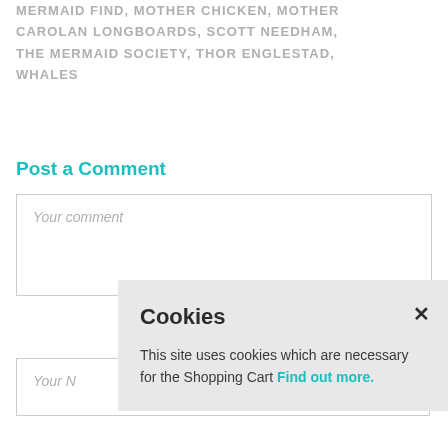MERMAID FIND, MOTHER CHICKEN, MOTHER CAROLAN LONGBOARDS, SCOTT NEEDHAM, THE MERMAID SOCIETY, THOR ENGLESTAD, WHALES
Post a Comment
Your comment
Your Name
[Figure (screenshot): Cookie consent popup with title 'Cookies', close button (×), and text: 'This site uses cookies which are necessary for the Shopping Cart Find out more.']